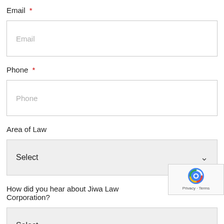Email *
Email (placeholder)
Phone *
Phone (placeholder)
Area of Law
Select
How did you hear about Jiwa Law Corporation?
Select
Please tell us more about your needs